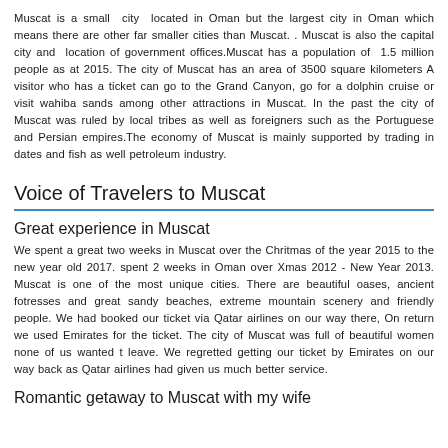Muscat is a small city located in Oman but the largest city in Oman which means there are other far smaller cities than Muscat. . Muscat is also the capital city and location of government offices.Muscat has a population of 1.5 million people as at 2015. The city of Muscat has an area of 3500 square kilometers A visitor who has a ticket can go to the Grand Canyon, go for a dolphin cruise or visit wahiba sands among other attractions in Muscat. In the past the city of Muscat was ruled by local tribes as well as foreigners such as the Portuguese and Persian empires.The economy of Muscat is mainly supported by trading in dates and fish as well petroleum industry.
Voice of Travelers to Muscat
Great experience in Muscat
We spent a great two weeks in Muscat over the Chritmas of the year 2015 to the new year old 2017. spent 2 weeks in Oman over Xmas 2012 - New Year 2013. Muscat is one of the most unique cities. There are beautiful oases, ancient fotresses and great sandy beaches, extreme mountain scenery and friendly people. We had booked our ticket via Qatar airlines on our way there, On return we used Emirates for the ticket. The city of Muscat was full of beautiful women none of us wanted t leave. We regretted getting our ticket by Emirates on our way back as Qatar airlines had given us much better service.
Romantic getaway to Muscat with my wife